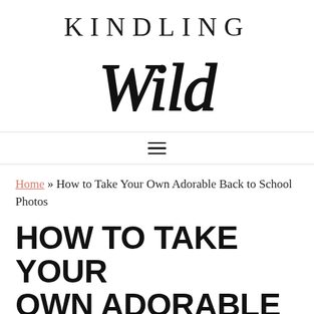[Figure (logo): Kindling Wild blog logo with 'KINDLING' in uppercase serif letters and 'Wild' in decorative script below]
≡
Home » How to Take Your Own Adorable Back to School Photos
HOW TO TAKE YOUR OWN ADORABLE